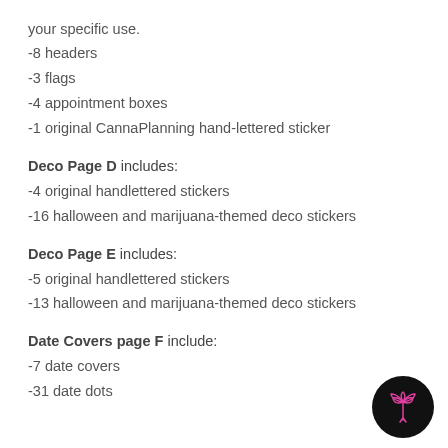your specific use.
-8 headers
-3 flags
-4 appointment boxes
-1 original CannaPlanning hand-lettered sticker
Deco Page D includes:
-4 original handlettered stickers
-16 halloween and marijuana-themed deco stickers
Deco Page E includes:
-5 original handlettered stickers
-13 halloween and marijuana-themed deco stickers
Date Covers page F include:
-7 date covers
-31 date dots
[Figure (logo): Black circle with pink cannabis leaf icon]